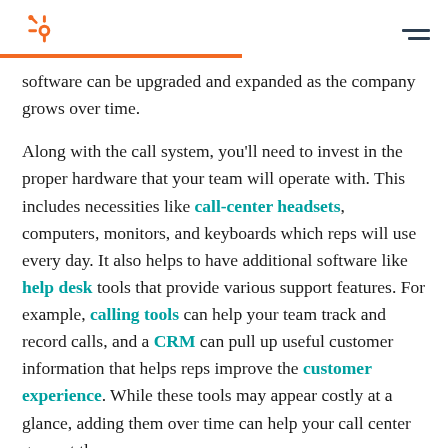HubSpot logo and navigation
software can be upgraded and expanded as the company grows over time.
Along with the call system, you'll need to invest in the proper hardware that your team will operate with. This includes necessities like call-center headsets, computers, monitors, and keyboards which reps will use every day. It also helps to have additional software like help desk tools that provide various support features. For example, calling tools can help your team track and record calls, and a CRM can pull up useful customer information that helps reps improve the customer experience. While these tools may appear costly at a glance, adding them over time can help your call center grow at the same pace